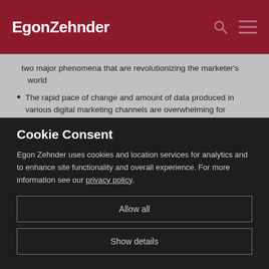EgonZehnder
two major phenomena that are revolutionizing the marketer's world
The rapid pace of change and amount of data produced in various digital marketing channels are overwhelming for marketing professionals
Cookie Consent
Egon Zehnder uses cookies and location services for analytics and to enhance site functionality and overall experience. For more information see our privacy policy.
Allow all
Show details